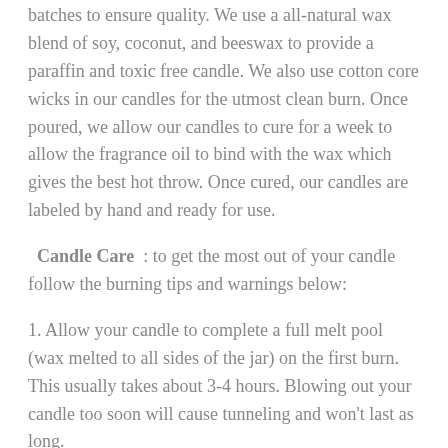batches to ensure quality. We use a all-natural wax blend of soy, coconut, and beeswax to provide a paraffin and toxic free candle. We also use cotton core wicks in our candles for the utmost clean burn. Once poured, we allow our candles to cure for a week to allow the fragrance oil to bind with the wax which gives the best hot throw. Once cured, our candles are labeled by hand and ready for use.
Candle Care : to get the most out of your candle follow the burning tips and warnings below:
1. Allow your candle to complete a full melt pool (wax melted to all sides of the jar) on the first burn. This usually takes about 3-4 hours. Blowing out your candle too soon will cause tunneling and won't last as long.
2. Keep your wick trimmed to 1/4". Your wick should